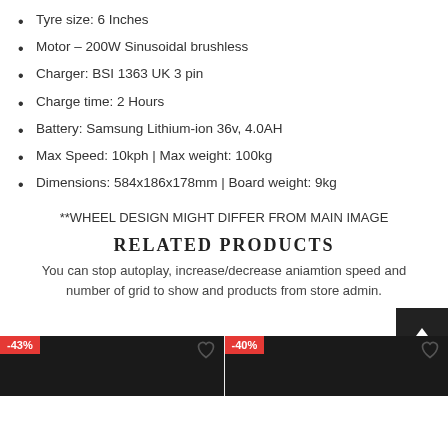Tyre size: 6 Inches
Motor – 200W Sinusoidal brushless
Charger: BSI 1363 UK 3 pin
Charge time: 2 Hours
Battery: Samsung Lithium-ion 36v, 4.0AH
Max Speed: 10kph | Max weight: 100kg
Dimensions: 584x186x178mm | Board weight: 9kg
**WHEEL DESIGN MIGHT DIFFER FROM MAIN IMAGE
RELATED PRODUCTS
You can stop autoplay, increase/decrease aniamtion speed and number of grid to show and products from store admin.